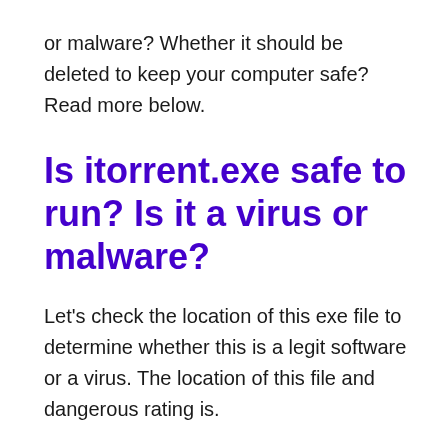or malware? Whether it should be deleted to keep your computer safe? Read more below.
Is itorrent.exe safe to run? Is it a virus or malware?
Let's check the location of this exe file to determine whether this is a legit software or a virus. The location of this file and dangerous rating is.
File Location / Rating: